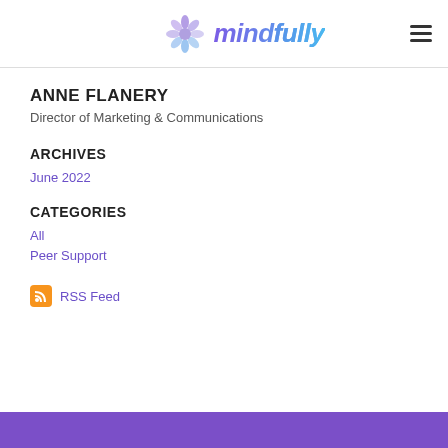[Figure (logo): Mindfully logo with flower icon and stylized italic text]
ANNE FLANERY
Director of Marketing & Communications
ARCHIVES
June 2022
CATEGORIES
All
Peer Support
[Figure (other): RSS Feed icon (orange square with RSS symbol) and RSS Feed link]